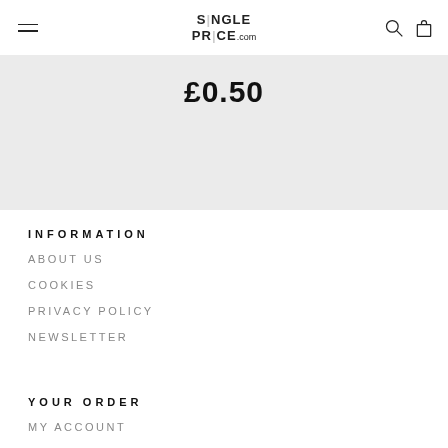SINGLEPRICE.com
£0.50
INFORMATION
ABOUT US
COOKIES
PRIVACY POLICY
NEWSLETTER
YOUR ORDER
MY ACCOUNT